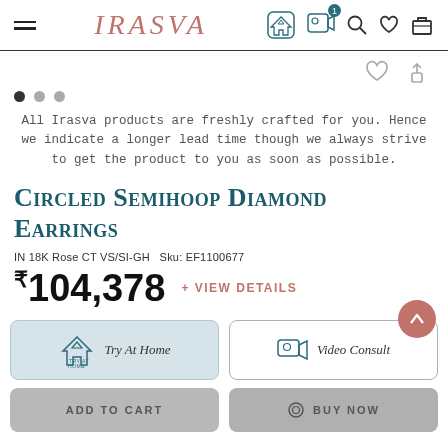IRASVA
[Figure (screenshot): Navigation bar with hamburger menu, IRASVA logo in coral/rose, and icons: Try at Home, Video Consult (with badge 1), Search, Wishlist, Cart]
[Figure (other): Action icons: heart/wishlist and share/upload icon on top right]
[Figure (other): Dot navigation: 3 dots, first filled dark, others gray]
All Irasva products are freshly crafted for you. Hence we indicate a longer lead time though we always strive to get the product to you as soon as possible.
Circled Semihoop Diamond Earrings
IN 18K Rose CT VS/SI-GH  Sku: EF1100677
₹104,378  + VIEW DETAILS
[Figure (other): Try At Home button with house/diamond icon]
[Figure (other): Video Consult button with video icon]
[Figure (other): ADD TO CART button (gray)]
[Figure (other): BUY NOW button (gray) with ring icon]